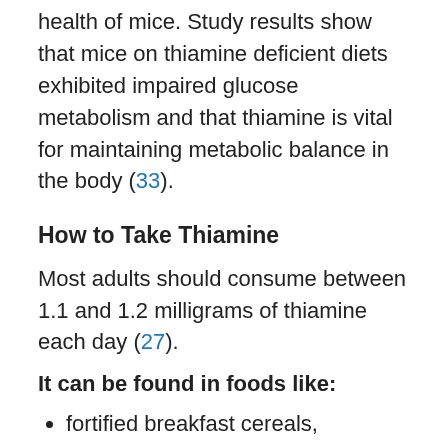health of mice. Study results show that mice on thiamine deficient diets exhibited impaired glucose metabolism and that thiamine is vital for maintaining metabolic balance in the body (33).
How to Take Thiamine
Most adults should consume between 1.1 and 1.2 milligrams of thiamine each day (27).
It can be found in foods like:
fortified breakfast cereals,
enriched rice or pasta;
as well as in smaller amounts in proteins like:
pork,
trout,